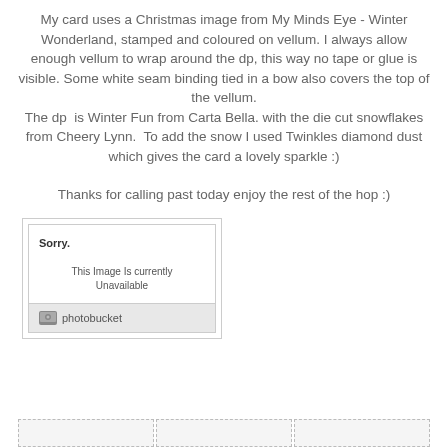My card uses a Christmas image from My Minds Eye - Winter Wonderland, stamped and coloured on vellum.  I always allow enough vellum to wrap around the dp, this way no tape or glue is visible. Some white seam binding tied in a bow also covers the top of the vellum. The dp  is Winter Fun from Carta Bella. with the die cut snowflakes from Cheery Lynn.  To add the snow I used Twinkles diamond dust which gives the card a lovely sparkle :)
Thanks for calling past today enjoy the rest of the hop :)
[Figure (screenshot): Photobucket placeholder image showing 'Sorry. This Image Is Currently Unavailable' with photobucket logo at bottom]